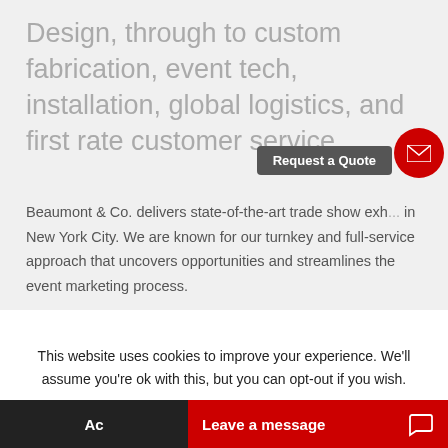Design, through to custom fabrication, event tech, installation, global logistics, and first rate customer service.
Beaumont & Co. delivers state-of-the-art trade show exh... in New York City. We are known for our turnkey and full-service approach that uncovers opportunities and streamlines the event marketing process.
Our team of designers, architects, fabrications and project managers produce world-class trade show exhibits, the eye-catching displays you see in national in-store and event
Request a Quote
This website uses cookies to improve your experience. We'll assume you're ok with this, but you can opt-out if you wish.
Ac
Leave a message